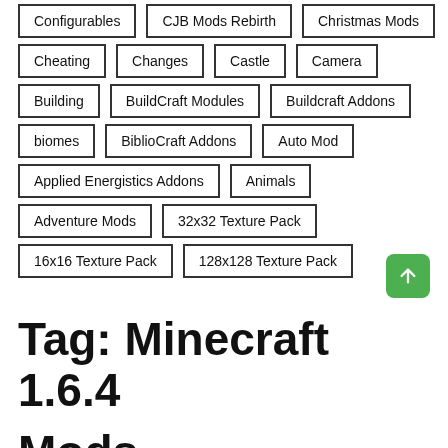Configurables
CJB Mods Rebirth
Christmas Mods
Cheating
Changes
Castle
Camera
Building
BuildCraft Modules
Buildcraft Addons
biomes
BiblioCraft Addons
Auto Mod
Applied Energistics Addons
Animals
Adventure Mods
32x32 Texture Pack
16x16 Texture Pack
128x128 Texture Pack
Tag: Minecraft 1.6.4
Mods